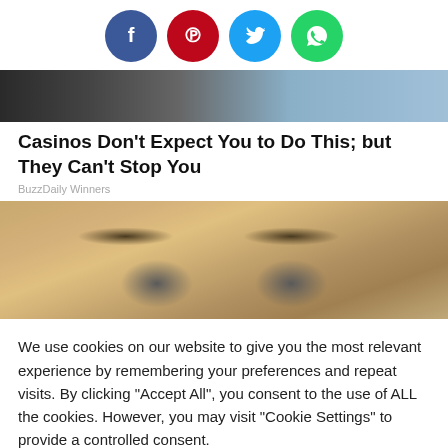[Figure (infographic): Social share buttons: Facebook (blue circle, f), Pinterest (red circle, p), Twitter (light blue circle, bird), WhatsApp (green circle, phone)]
[Figure (photo): Partial view of a casino or indoor scene, dark and blurry, cropped banner image]
Casinos Don't Expect You to Do This; but They Can't Stop You
BuzzDaily Winners
[Figure (photo): Close-up photo of a blonde woman's face showing surprised wide eyes and arched eyebrows with a white headband]
We use cookies on our website to give you the most relevant experience by remembering your preferences and repeat visits. By clicking "Accept All", you consent to the use of ALL the cookies. However, you may visit "Cookie Settings" to provide a controlled consent.
Cookie Settings | Accept All